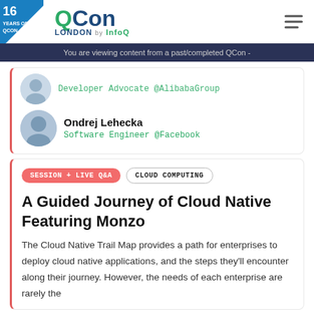16 YEARS OF QCON | QCon LONDON by InfoQ
You are viewing content from a past/completed QCon -
Developer Advocate @AlibabaGroup
Ondrej Lehecka
Software Engineer @Facebook
SESSION + LIVE Q&A  CLOUD COMPUTING
A Guided Journey of Cloud Native Featuring Monzo
The Cloud Native Trail Map provides a path for enterprises to deploy cloud native applications, and the steps they'll encounter along their journey. However, the needs of each enterprise are rarely the